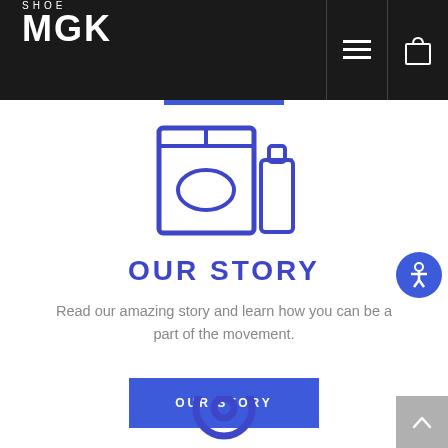SHOE MGK
[Figure (illustration): Line drawing icon of a product box and bottle/container in blue outline style]
OUR STORY
Read our amazing story and learn how you can be a part of the movement.
OUR STORY
[Figure (illustration): Blue circular target/location pin icon partially visible at bottom of page]